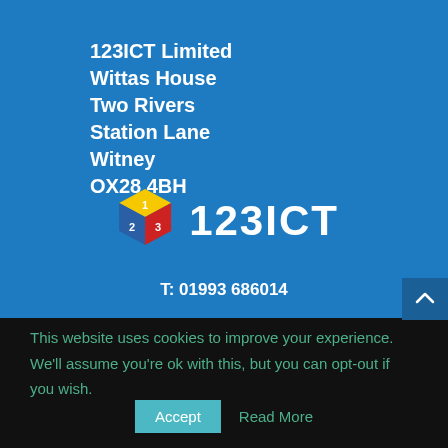123ICT Limited
Wittas House
Two Rivers
Station Lane
Witney
OX28 4BH
[Figure (logo): 123ICT cube logo with red, yellow and blue faces showing numbers 1, 2, 3, followed by text '123ICT' in white bold letters on blue background]
T: 01993 686014
This website uses cookies to improve your experience. We'll assume you're ok with this, but you can opt-out if you wish.
Accept    Read More